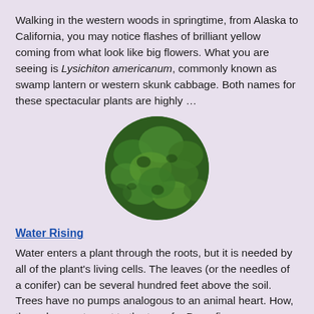Walking in the western woods in springtime, from Alaska to California, you may notice flashes of brilliant yellow coming from what look like big flowers. What you are seeing is Lysichiton americanum, commonly known as swamp lantern or western skunk cabbage. Both names for these spectacular plants are highly …
[Figure (photo): Aerial circular photo of dense green forest/treetops]
Water Rising
Water enters a plant through the roots, but it is needed by all of the plant's living cells. The leaves (or the needles of a conifer) can be several hundred feet above the soil. Trees have no pumps analogous to an animal heart. How, then, does water get to the top of a Doug fir …
[Figure (photo): Circular photo of tall conifer trees (redwoods or firs) viewed from below]